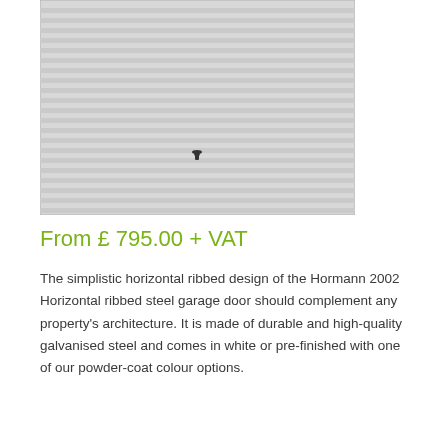[Figure (photo): A light grey horizontal ribbed steel garage door with visible ribbed texture lines running horizontally across the surface. A small dark handle/lock is visible near the center-bottom of the door.]
From £ 795.00 + VAT
The simplistic horizontal ribbed design of the Hormann 2002 Horizontal ribbed steel garage door should complement any property's architecture. It is made of durable and high-quality galvanised steel and comes in white or pre-finished with one of our powder-coat colour options.